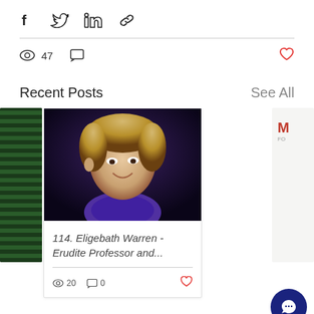[Figure (infographic): Social share bar with Facebook, Twitter, LinkedIn, and link icons]
47
Recent Posts
See All
[Figure (photo): Photo of a smiling woman with blonde hair wearing a purple jacket, looking upward]
114. Eligebath Warren - Erudite Professor and...
20   0